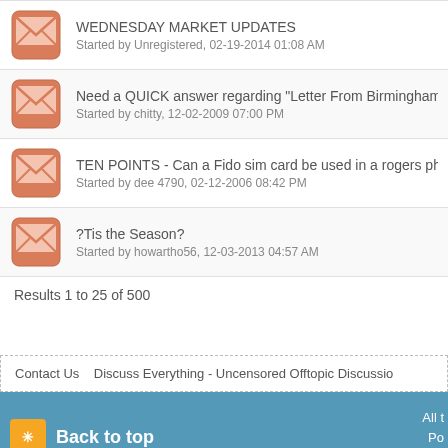WEDNESDAY MARKET UPDATES
Started by Unregistered, 02-19-2014 01:08 AM
Need a QUICK answer regarding "Letter From Birmingham..."
Started by chitty, 12-02-2009 07:00 PM
TEN POINTS - Can a Fido sim card be used in a rogers ph...
Started by dee 4790, 02-12-2006 08:42 PM
?Tis the Season?
Started by howartho56, 12-03-2013 04:57 AM
Results 1 to 25 of 500
Contact Us   Discuss Everything - Uncensored Offtopic Discussio...
Back to top